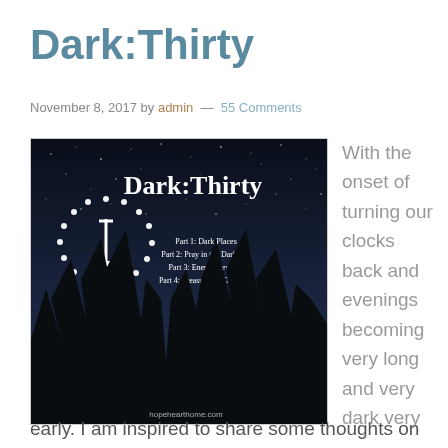Dark:Thirty
November 8, 2017 by admin — 55 Comments
[Figure (photo): Night sky photo with silhouetted pine trees. Text overlay reads 'Dark:Thirty' in large serif font. A dotted circle with a downward arrow is on the left. Smaller text lists: Part 1: Dark Places, Part 2: Pray in the Darkness, Part 3: Enemy Beware!, Part 4: Treasures of Darkness. Bottom text: hopehearthome.com]
With the onset of turning our clocks back and evenings becoming very long and very dark very
early. I am inspired to share some thoughts on